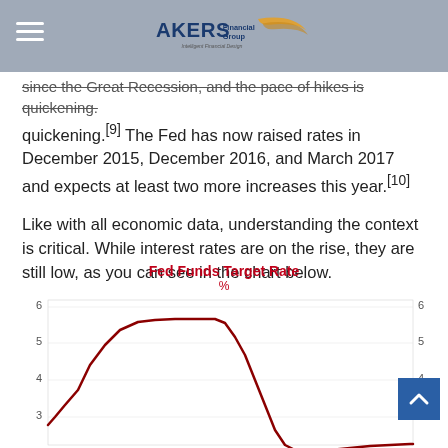Akers Financial Group - Intelligent Financial Design
since the Great Recession, and the pace of hikes is quickening.[9] The Fed has now raised rates in December 2015, December 2016, and March 2017 and expects at least two more increases this year.[10]
Like with all economic data, understanding the context is critical. While interest rates are on the rise, they are still low, as you can see in the chart below.
[Figure (continuous-plot): Line chart showing the Fed Funds Target Rate over time, with y-axis from 3 to 6 percent visible in the cropped view. The line rises from around 3% to a peak near 5.25%, then drops steeply and appears to bottom out near 0% before slightly rising.]